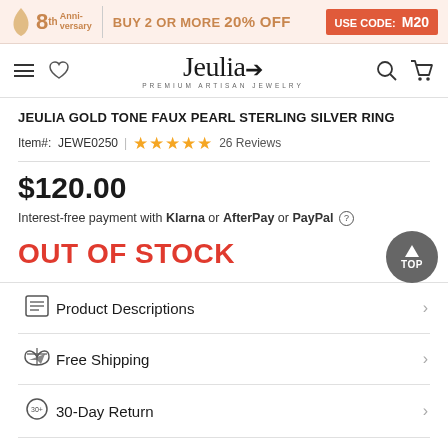8th | BUY 2 OR MORE 20% OFF USE CODE: M20
[Figure (logo): Jeulia Premium Artisan Jewelry logo with navigation icons]
JEULIA GOLD TONE FAUX PEARL STERLING SILVER RING
Item#: JEWE0250 | ★★★★★ 26 Reviews
$120.00
Interest-free payment with Klarna or AfterPay or PayPal
OUT OF STOCK
Product Descriptions
Free Shipping
30-Day Return
1 Year Warranty